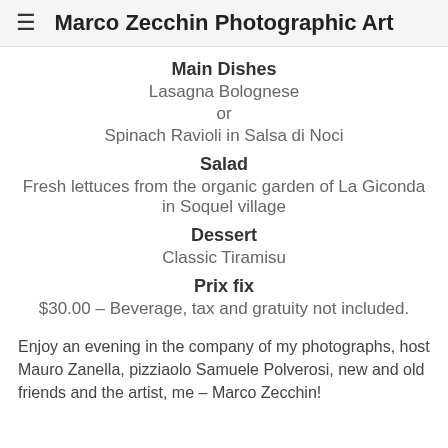Marco Zecchin Photographic Art
Main Dishes
Lasagna Bolognese
or
Spinach Ravioli in Salsa di Noci
Salad
Fresh lettuces from the organic garden of La Giconda in Soquel village
Dessert
Classic Tiramisu
Prix fix
$30.00 – Beverage, tax and gratuity not included.
Enjoy an evening in the company of my photographs, host Mauro Zanella, pizziaolo Samuele Polverosi, new and old friends and the artist, me – Marco Zecchin!